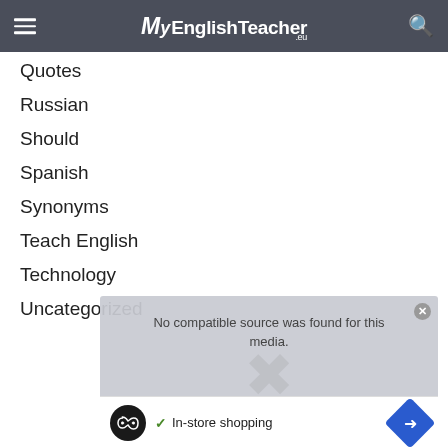MyEnglishTeacher.eu
Quotes
Russian
Should
Spanish
Synonyms
Teach English
Technology
Uncategorized
[Figure (screenshot): Overlay with text: No compatible source was found for this media. Ad bar below with In-store shopping label, infinity badge, and blue direction arrow icon.]